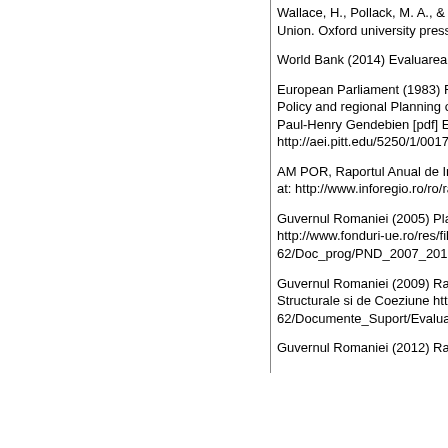Wallace, H., Pollack, M. A., & Young, A. R. (Eds.) (2010) Policy-making in the European Union. Oxford university press.
World Bank (2014) Evaluarea Strategica a PID-urilor, Regio
European Parliament (1983) Report drawn up on behalf of the Committee on Regional Policy and regional Planning on a European regional planning scheme, Rapporteur: Mr. Paul-Henry Gendebien [pdf] European Parliament. Available at: http://aei.pitt.edu/5250/1/001765_1.pdf [Accessed 17 June 2011]
AM POR, Raportul Anual de Implementare 2008, 2009, 2010, 2011, 2012, 2013. Available at: http://www.inforegio.ro/ro/raportari.html [Accessed 14 October 2014]
Guvernul Romaniei (2005) Planul Național de Dezvoltare 2007-2013. [pdf] Available at: http://www.fonduri-ue.ro/res/filepicker_users/cd25a597fd-62/Doc_prog/PND_2007_2013/1_PND_20 [Accessed 9 October 2014]
Guvernul Romaniei (2009) Raportul Strategic Național privind implementarea Fondurilor Structurale si de Coeziune http://www.fonduri-ue.ro/res/filepicker_users/cd25a597fd-62/Documente_Suport/Evaluari/0_EVALUAR [Accessed 9 Oct 2014]
Guvernul Romaniei (2012) Raportul